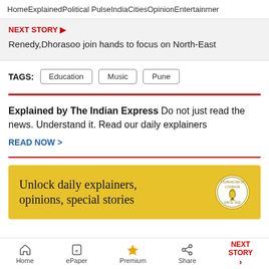Home  Explained  Political Pulse  India  Cities  Opinion  Entertainment
NEXT STORY ▶
Renedy,Dhorasoo join hands to focus on North-East
TAGS: Education  Music  Pune
Explained by The Indian Express Do not just read the news. Understand it. Read our daily explainers
READ NOW >
[Figure (infographic): Yellow advertisement banner for The Indian Express with text 'Unlock daily explainers, opinions, special stories' and a circular journalism logo on the right]
Home  ePaper  Premium  Share  NEXT STORY